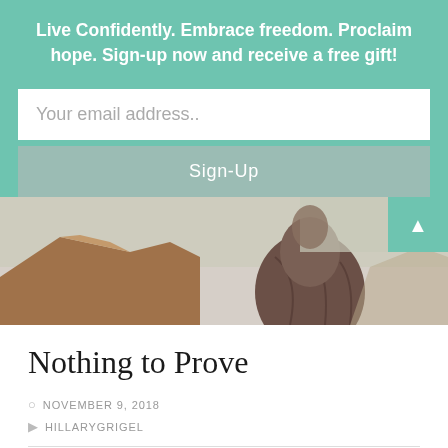Live Confidently. Embrace freedom. Proclaim hope. Sign-up now and receive a free gift!
Your email address..
Sign-Up
[Figure (photo): Partial view of a person in a dark draped outfit standing outdoors against a desert/rocky hillside background with pale sky.]
Nothing to Prove
NOVEMBER 9, 2018
HILLARYGRIGEL